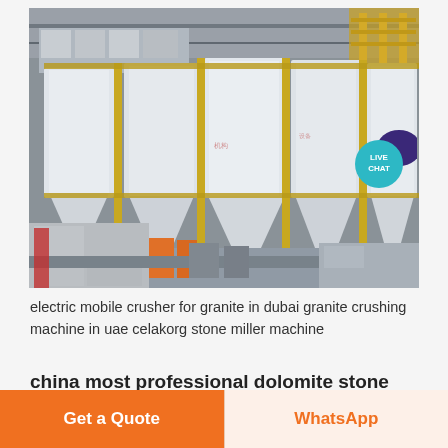[Figure (photo): Industrial factory interior showing large white aggregate/material storage silos with funnel bottoms, conveyor systems, yellow metal framework overhead, and bagged materials stacked in foreground. A LIVE CHAT bubble is visible in the top-right corner of the image.]
electric mobile crusher for granite in dubai granite crushing machine in uae celakorg stone miller machine
china most professional dolomite stone
Get a Quote
WhatsApp